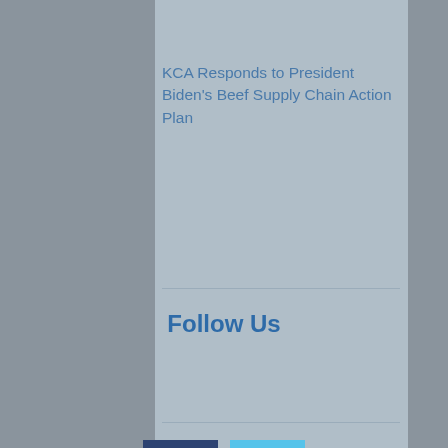KCA Responds to President Biden's Beef Supply Chain Action Plan
Follow Us
[Figure (illustration): Facebook icon - dark navy blue square with white letter f]
[Figure (illustration): Twitter icon - light blue square with white bird logo]
Advertise with KCA
Advertising with KCA includes print and online media, social media, on-site event, and much more.
Our members support the businesses that support the KCA, so contact us today to get started!